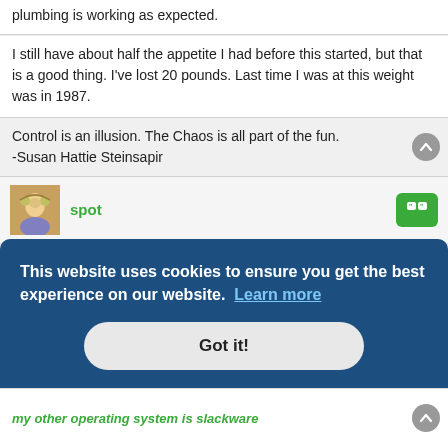plumbing is working as expected.
I still have about half the appetite I had before this started, but that is a good thing. I've lost 20 pounds. Last time I was at this weight was in 1987.
Control is an illusion. The Chaos is all part of the fun.
-Susan Hattie Steinsapir
spot
Illness it's a bugger ennit ?
Sun Aug 06, 2017 1:15 pm
Always a bit of a lottery, having those tubes messed about with. I'm delighted to hear they're still properly connected the way they were meant to be
This website uses cookies to ensure you get the best experience on our website.  Learn more
Got it!
my other operating system is slackware